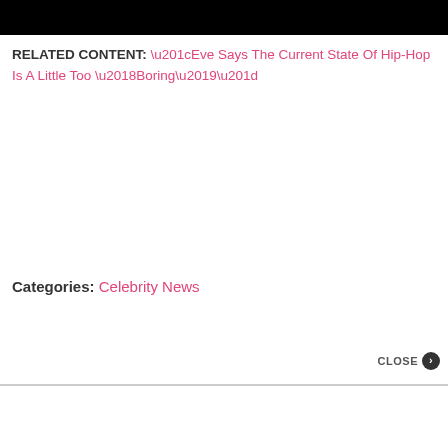[Figure (photo): Black bar image at top of page]
RELATED CONTENT: “Eve Says The Current State Of Hip-Hop Is A Little Too ‘Boring’”
Categories: Celebrity News